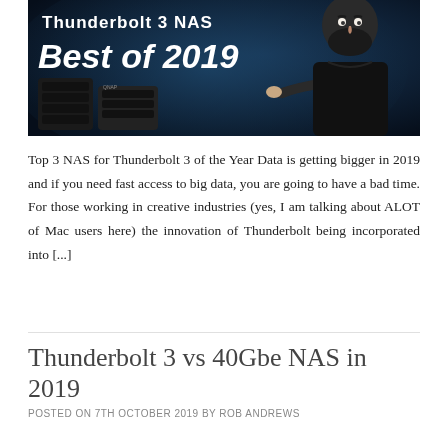[Figure (illustration): Thumbnail image for a NAS review article showing text 'Thunderbolt 3 NAS Best of 2019' on a dark blue background with a NAS device on the left and a man pointing/gesturing on the right]
Top 3 NAS for Thunderbolt 3 of the Year Data is getting bigger in 2019 and if you need fast access to big data, you are going to have a bad time. For those working in creative industries (yes, I am talking about ALOT of Mac users here) the innovation of Thunderbolt being incorporated into [...]
Thunderbolt 3 vs 40Gbe NAS in 2019
POSTED ON 7TH OCTOBER 2019 BY ROB ANDREWS